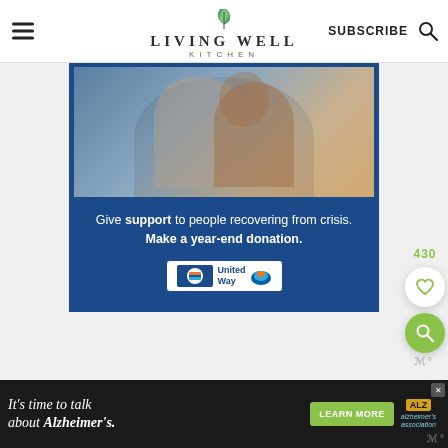Living Well Kitchen — SUBSCRIBE
[Figure (photo): United Way advertisement showing a person holding a child, with text: Give support to people recovering from crisis. Make a year-end donation. United Way logo.]
[Figure (infographic): Floating UI elements: heart icon button (430), search icon button]
[Figure (infographic): Bottom banner ad: It's time to talk about Alzheimer's. LEARN MORE button. Alzheimer's Association logo.]